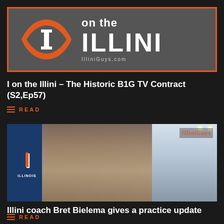[Figure (logo): I on the Illini logo banner with orange eye icon containing white letter I, text 'on the ILLINI' and 'IlliniGuys.com' on gray background with orange border]
I on the Illini – The Historic B1G TV Contract (S2,Ep57)
READ
[Figure (photo): Video thumbnail showing Illini coach Bret Bielema speaking at a press conference, Illinois banner visible on left with orange I, IlliniGuys watermark in upper right]
Illini coach Bret Bielema gives a practice update
READ